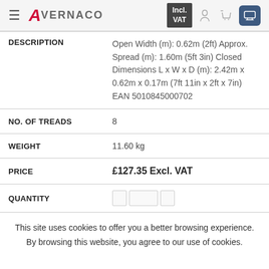Avernaco — Incl. VAT
| Field | Value |
| --- | --- |
| DESCRIPTION | Open Width (m): 0.62m (2ft) Approx. Spread (m): 1.60m (5ft 3in) Closed Dimensions L x W x D (m): 2.42m x 0.62m x 0.17m (7ft 11in x 2ft x 7in) EAN 5010845000702 |
| NO. OF TREADS | 8 |
| WEIGHT | 11.60 kg |
| PRICE | £127.35 Excl. VAT |
| QUANTITY |  |
This site uses cookies to offer you a better browsing experience. By browsing this website, you agree to our use of cookies.